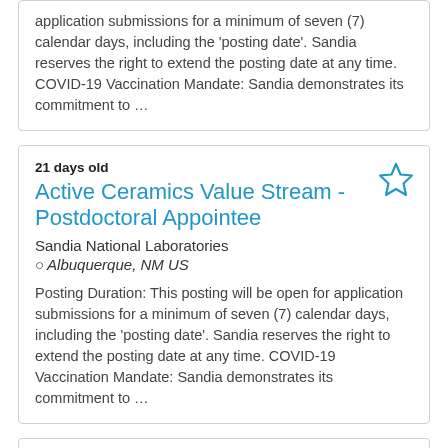application submissions for a minimum of seven (7) calendar days, including the 'posting date'. Sandia reserves the right to extend the posting date at any time. COVID-19 Vaccination Mandate: Sandia demonstrates its commitment to …
21 days old
Active Ceramics Value Stream - Postdoctoral Appointee
Sandia National Laboratories
Albuquerque, NM US
Posting Duration: This posting will be open for application submissions for a minimum of seven (7) calendar days, including the 'posting date'. Sandia reserves the right to extend the posting date at any time. COVID-19 Vaccination Mandate: Sandia demonstrates its commitment to …
21 days old